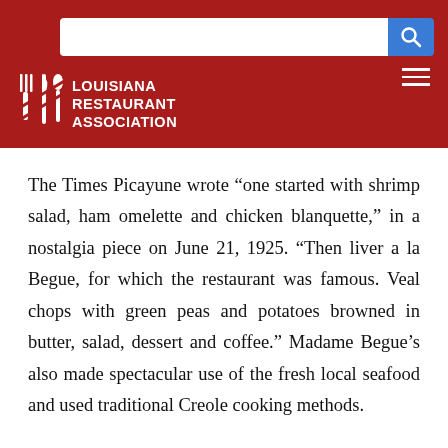[Figure (logo): Louisiana Restaurant Association logo with white fork/knife icon and white text on dark red header background, along with a search bar and hamburger menu]
The Times Picayune wrote “one started with shrimp salad, ham omelette and chicken blanquette,” in a nostalgia piece on June 21, 1925. “Then liver a la Begue, for which the restaurant was famous. Veal chops with green peas and potatoes browned in butter, salad, dessert and coffee.” Madame Begue’s also made spectacular use of the fresh local seafood and used traditional Creole cooking methods.
Word traveled fast to Begue’s neighbor Tujague’s, just a few doors down on Decatur Street. Husband and wife owners Guillaume and Marie Abadie Tujague welcomed in all the